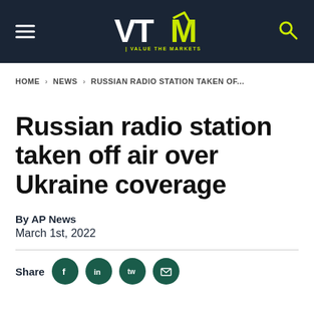VTM | VALUE THE MARKETS
HOME > NEWS > RUSSIAN RADIO STATION TAKEN OF...
Russian radio station taken off air over Ukraine coverage
By AP News
March 1st, 2022
Share